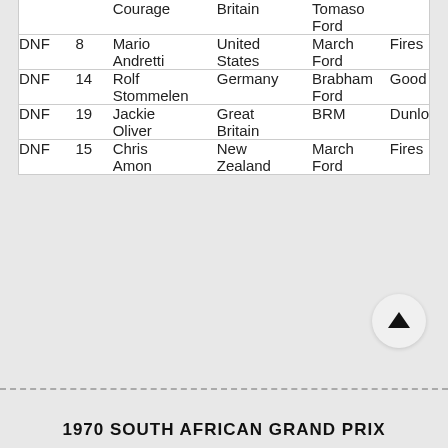| Pos | No | Driver | Nationality | Car | Tyres |
| --- | --- | --- | --- | --- | --- |
| DNF |  | Courage | Britain | Tomaso Ford |  |
| DNF | 8 | Mario Andretti | United States | March Ford | Fires |
| DNF | 14 | Rolf Stommelen | Germany | Brabham Ford | Good |
| DNF | 19 | Jackie Oliver | Great Britain | BRM | Dunlo |
| DNF | 15 | Chris Amon | New Zealand | March Ford | Fires |
1970 SOUTH AFRICAN GRAND PRIX